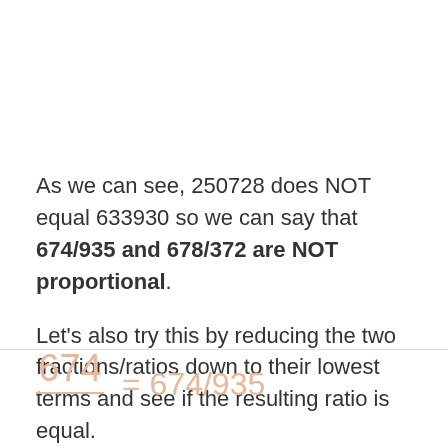As we can see, 250728 does NOT equal 633930 so we can say that 674/935 and 678/372 are NOT proportional.
Let's also try this by reducing the two fractions/ratios down to their lowest terms and see if the resulting ratio is equal.